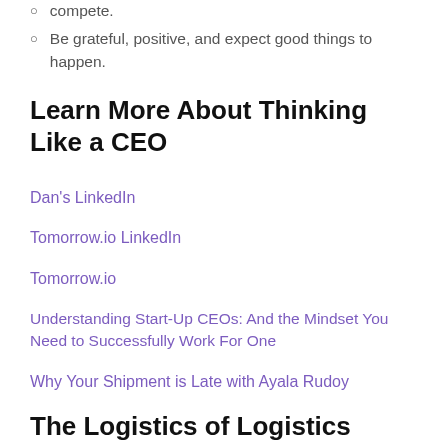compete.
Be grateful, positive, and expect good things to happen.
Learn More About Thinking Like a CEO
Dan's LinkedIn
Tomorrow.io LinkedIn
Tomorrow.io
Understanding Start-Up CEOs: And the Mindset You Need to Successfully Work For One
Why Your Shipment is Late with Ayala Rudoy
The Logistics of Logistics Podcast